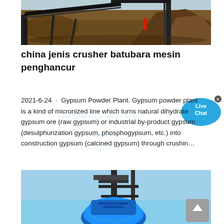[Figure (photo): Outdoor mining/crushing site showing conveyor belt, industrial structure, rock piles, and a worker in red uniform]
china jenis crusher batubara mesin penghancur
2021-6-24 · Gypsum Powder Plant. Gypsum powder plant is a kind of micronized line which turns natural dihydrate gypsum ore (raw gypsum) or industrial by-product gypsum (desulphurization gypsum, phosphogypsum, etc.) into construction gypsum (calcined gypsum) through crushin…
[Figure (photo): Blue industrial crusher/grinding machine against blue sky with metal frame structure]